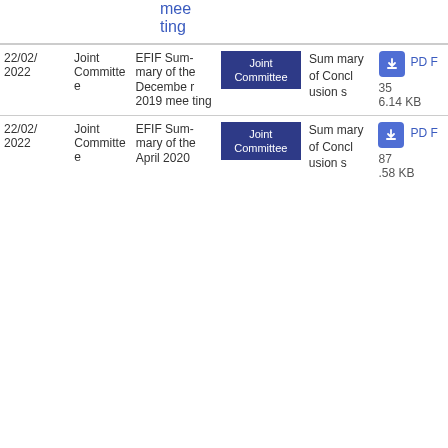| Date | Committee | Title | Tag | Doc Type | Download |
| --- | --- | --- | --- | --- | --- |
| 22/02/
2022 | Joint Committee | EFIF Summary of the December 2019 meeting | Joint Committee | Summary of Conclusions | PDF
35
6.14 KB |
| 22/02/
2022 | Joint Committee | EFIF Summary of the April 2020 | Joint Committee | Summary of Conclusions | PDF
87
.58 KB |